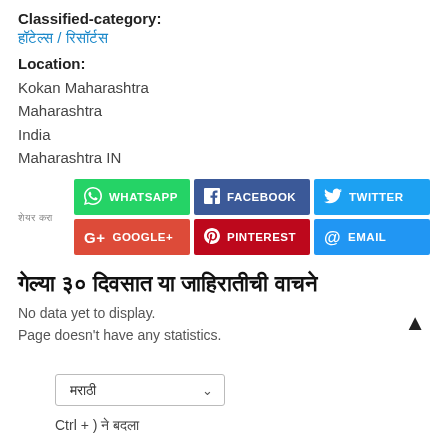Classified-category:
हॉटेल्स / रिसॉर्टस
Location:
Kokan Maharashtra
Maharashtra
India
Maharashtra IN
[Figure (infographic): Social share buttons: WhatsApp (green), Facebook (dark blue), Twitter (light blue), Google+ (red), Pinterest (dark red), Email (blue)]
गेल्या ३० दिवसात या जाहिरातीची वाचने
No data yet to display.
Page doesn't have any statistics.
मराठी
Ctrl + ) ने बदला